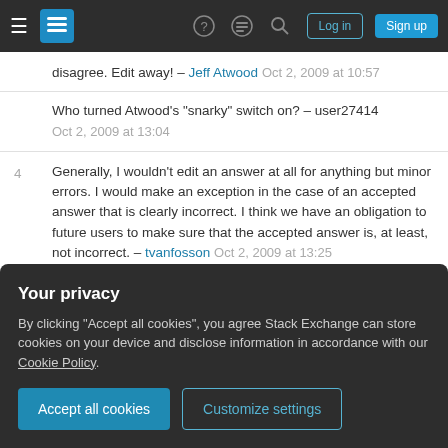Navigation bar with hamburger menu, Stack Exchange logo, help, chat, search icons, Log in and Sign up buttons
disagree. Edit away! – Jeff Atwood Oct 2, 2009 at 10:57
Who turned Atwood's "snarky" switch on? – user27414 Oct 2, 2009 at 13:04
4  Generally, I wouldn't edit an answer at all for anything but minor errors. I would make an exception in the case of an accepted answer that is clearly incorrect. I think we have an obligation to future users to make sure that the accepted answer is, at least, not incorrect. – tvanfosson Oct 2, 2009 at 13:25
Personally I am sick of getting my good answers
Your privacy
By clicking "Accept all cookies", you agree Stack Exchange can store cookies on your device and disclose information in accordance with our Cookie Policy.
Accept all cookies
Customize settings